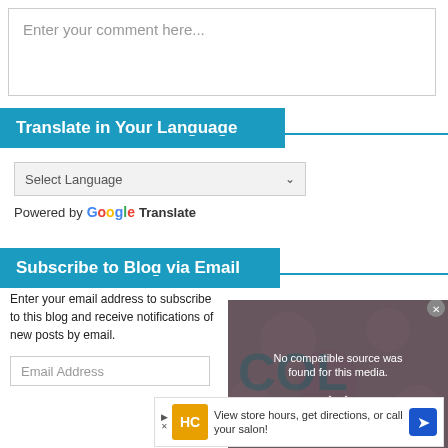Enter your comment here...
Translate in Your Language
Select Language
Powered by Google Translate
Subscribe to Blog via Email
Enter your email address to subscribe to this blog and receive notifications of new posts by email.
Email Address
[Figure (other): Media error overlay with text 'No compatible source was found for this media.' and an X close button, overlaid on a floral background with watermark text 'COL' and 'FIST']
[Figure (other): Advertisement banner: HC logo, 'View store hours, get directions, or call your salon!' with navigation arrow icon]